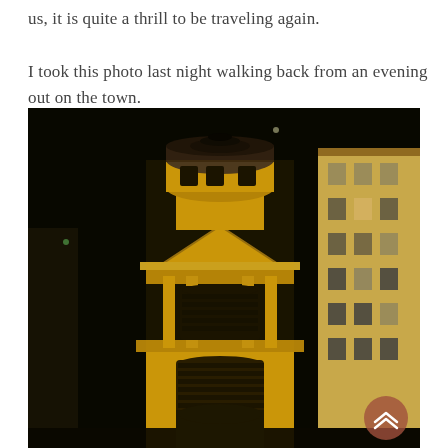us, it is quite a thrill to be traveling again.

I took this photo last night walking back from an evening out on the town.
[Figure (photo): Night photograph of an illuminated church tower (likely Saint-Sulpice, Paris) lit in golden yellow against a dark night sky, with apartment buildings visible on the right side.]